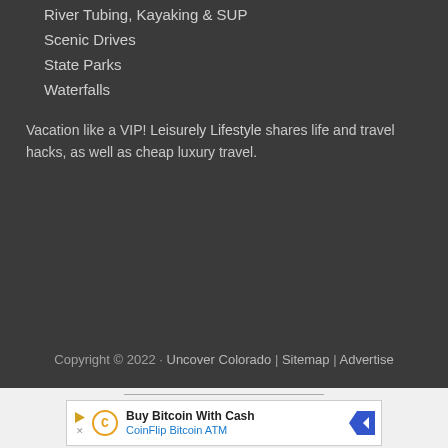River Tubing, Kayaking & SUP
Scenic Drives
State Parks
Waterfalls
Vacation like a VIP! Leisurely Lifestyle shares life and travel hacks, as well as cheap luxury travel.
Copyright © 2022 · Uncover Colorado | Sitemap | Advertise
AN ELITE CAFEMEDIA TRAVEL PUBLISHER
[Figure (infographic): Advertisement banner for Buy Bitcoin With Cash - CoinFlip Bitcoin ATM]